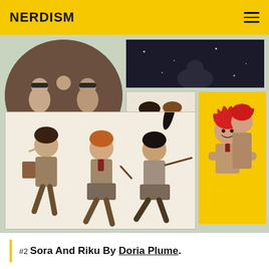NERDISM
[Figure (illustration): A collage of anime/illustration-style fan art images: top-left shows characters seated around a table in an oval/circle frame with dark brown background; top-right shows a dark/night sky scene; middle center shows two characters (one with glasses and red tie) on white background; right side shows two red-haired characters on yellow background; bottom large panel shows three running characters in school uniforms on light background.]
#2 Sora And Riku By Doria Plume.